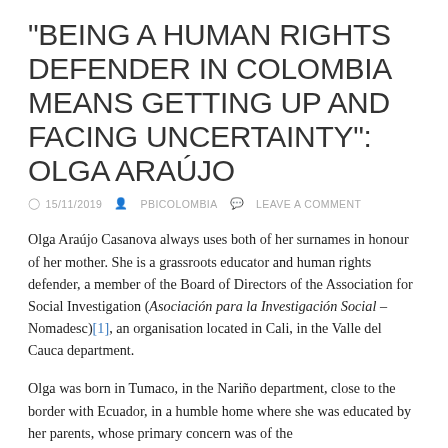"BEING A HUMAN RIGHTS DEFENDER IN COLOMBIA MEANS GETTING UP AND FACING UNCERTAINTY": OLGA ARAÚJO
15/11/2019   PBICOLOMBIA   LEAVE A COMMENT
Olga Araújo Casanova always uses both of her surnames in honour of her mother. She is a grassroots educator and human rights defender, a member of the Board of Directors of the Association for Social Investigation (Asociación para la Investigación Social – Nomadesc)[1], an organisation located in Cali, in the Valle del Cauca department.
Olga was born in Tumaco, in the Nariño department, close to the border with Ecuador, in a humble home where she was educated by her parents, whose primary concern was of the...